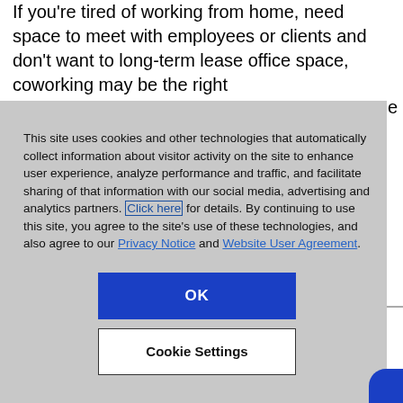If you're tired of working from home, need space to meet with employees or clients and don't want to long-term lease office space, coworking may be the right
This site uses cookies and other technologies that automatically collect information about visitor activity on the site to enhance user experience, analyze performance and traffic, and facilitate sharing of that information with our social media, advertising and analytics partners. Click here for details. By continuing to use this site, you agree to the site's use of these technologies, and also agree to our Privacy Notice and Website User Agreement.